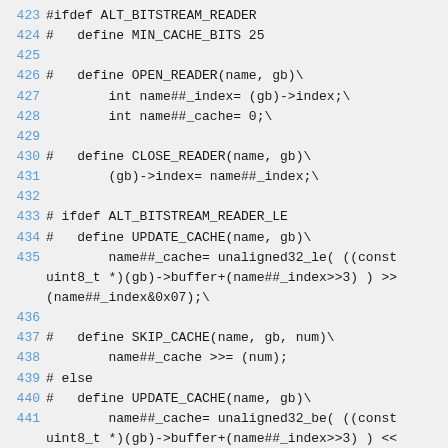[Figure (screenshot): Source code listing showing C preprocessor macro definitions for a bitstream reader, lines 423-443, with line numbers in blue and code in monospace font on a light gray background.]